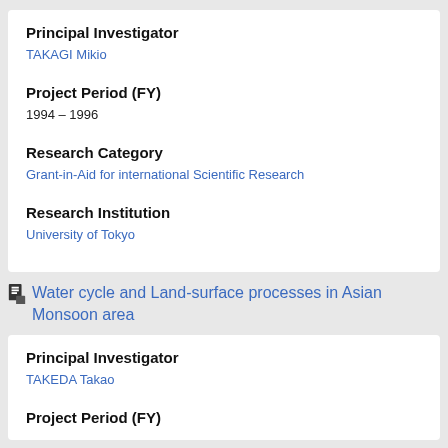Principal Investigator
TAKAGI Mikio
Project Period (FY)
1994 – 1996
Research Category
Grant-in-Aid for international Scientific Research
Research Institution
University of Tokyo
Water cycle and Land-surface processes in Asian Monsoon area
Principal Investigator
TAKEDA Takao
Project Period (FY)